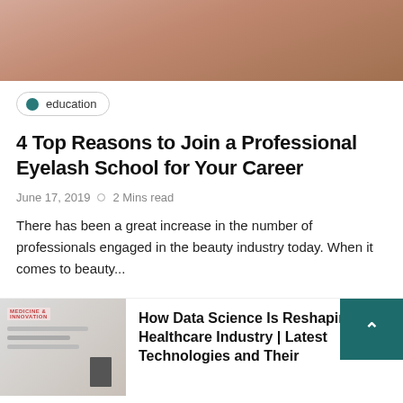[Figure (photo): Close-up photo of skin/eyelash area, warm tones, cropped at top]
education
4 Top Reasons to Join a Professional Eyelash School for Your Career
June 17, 2019  o  2 Mins read
There has been a great increase in the number of professionals engaged in the beauty industry today. When it comes to beauty...
[Figure (photo): Thumbnail image of documents/books related to medicine and innovation]
How Data Science Is Reshaping Healthcare Industry | Latest Technologies and Their